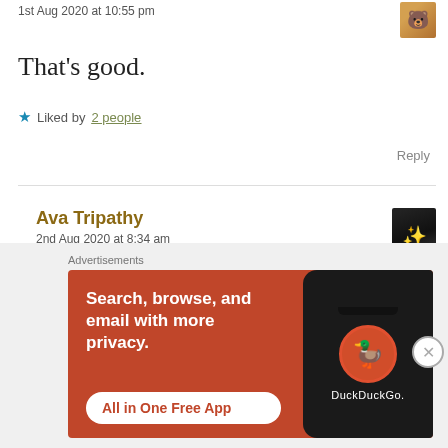1st Aug 2020 at 10:55 pm
That's good.
★ Liked by 2 people
Reply
Ava Tripathy
2nd Aug 2020 at 8:34 am
Thank you so much 😇😊
Advertisements
[Figure (screenshot): DuckDuckGo advertisement banner: orange background with text 'Search, browse, and email with more privacy. All in One Free App' and a phone showing DuckDuckGo logo]